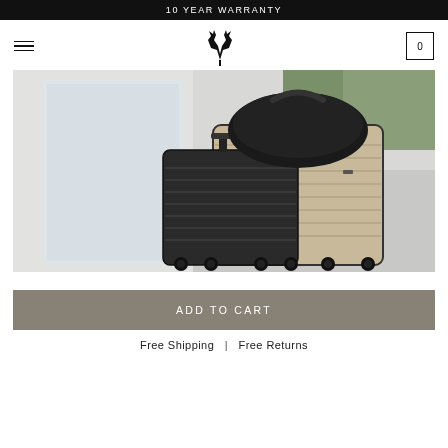10 YEAR WARRANTY
[Figure (photo): Navigation bar with hamburger menu on left, deer antler logo in center, and shopping cart icon showing 0 on right]
[Figure (photo): Product photo of two hard-shell luggage suitcases (one black, one champagne/gold) with a black handbag on top, displayed on a white surface with a modern interior background]
ADD TO CART
Free Shipping  |  Free Returns